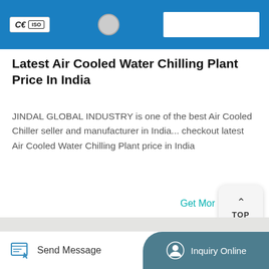[Figure (photo): Blue banner with CE and ISO certification logos, a white wheel/roller, and a white rectangle area on the right]
Latest Air Cooled Water Chilling Plant Price In India
JINDAL GLOBAL INDUSTRY is one of the best Air Cooled Chiller seller and manufacturer in India... checkout latest Air Cooled Water Chilling Plant price in India
Get Mor
[Figure (photo): Close-up photo of a chilling plant surface showing a label with Chinese text '高压表' and English text 'High pressure gauges']
Send Message
Inquiry Online